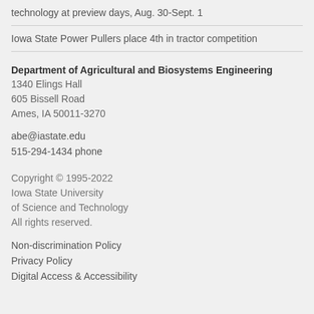technology at preview days, Aug. 30-Sept. 1
Iowa State Power Pullers place 4th in tractor competition
Department of Agricultural and Biosystems Engineering
1340 Elings Hall
605 Bissell Road
Ames, IA 50011-3270
abe@iastate.edu
515-294-1434 phone
Copyright © 1995-2022
Iowa State University
of Science and Technology
All rights reserved.
Non-discrimination Policy
Privacy Policy
Digital Access & Accessibility